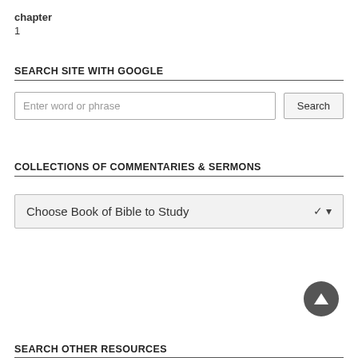chapter
1
SEARCH SITE WITH GOOGLE
[Figure (screenshot): Search input box with placeholder 'Enter word or phrase' and a Search button]
COLLECTIONS OF COMMENTARIES & SERMONS
[Figure (screenshot): Dropdown selector with text 'Choose Book of Bible to Study' and a down arrow]
[Figure (other): Back to top button - dark circle with upward triangle arrow]
SEARCH OTHER RESOURCES